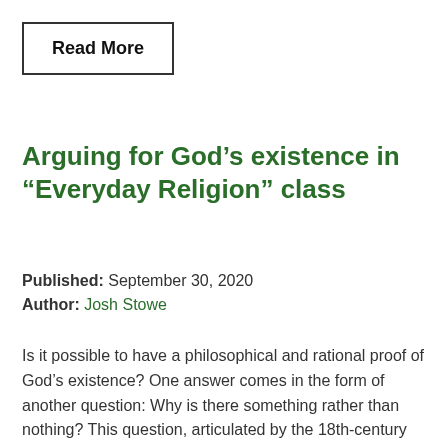Read More
Arguing for God’s existence in “Everyday Religion” class
Published: September 30, 2020
Author: Josh Stowe
Is it possible to have a philosophical and rational proof of God’s existence? One answer comes in the form of another question: Why is there something rather than nothing? This question, articulated by the 18th-century German philosopher and mathematician Gottfried Wilhelm Leibniz, animated the most recent session of Everyday Religion in a World of Many Faiths.